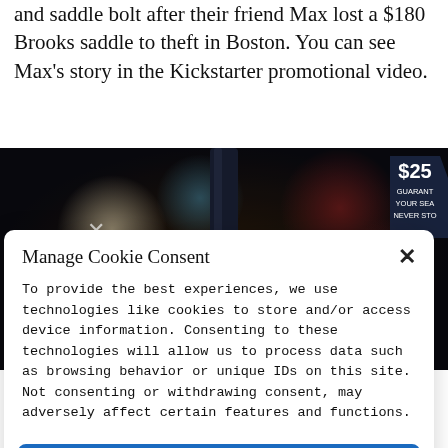and saddle bolt after their friend Max lost a $180 Brooks saddle to theft in Boston. You can see Max's story in the Kickstarter promotional video.
[Figure (photo): A dark bokeh background photo of a bicycle seat post/saddle bolt with the word PAYBACK in large white letters overlaid at the bottom. A partially visible badge in the upper right reads '$25 GUARANT... YOUR SEA... NEVER STO...']
Manage Cookie Consent
To provide the best experiences, we use technologies like cookies to store and/or access device information. Consenting to these technologies will allow us to process data such as browsing behavior or unique IDs on this site. Not consenting or withdrawing consent, may adversely affect certain features and functions.
Accept